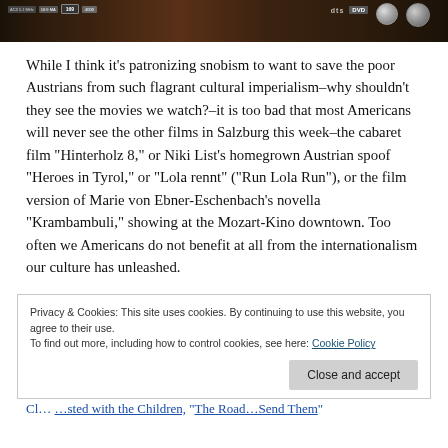[Figure (photo): Top portion of a DVD or video disc case/packaging showing technical logos (DTS, DVD) on a dark brown/black background.]
While I think it’s patronizing snobism to want to save the poor Austrians from such flagrant cultural imperialism–why shouldn’t they see the movies we watch?–it is too bad that most Americans will never see the other films in Salzburg this week–the cabaret film “Hinterholz 8,” or Niki List’s homegrown Austrian spoof “Heroes in Tyrol,” or “Lola rennt” (“Run Lola Run”), or the film version of Marie von Ebner-Eschenbach’s novella “Krambambuli,” showing at the Mozart-Kino downtown. Too often we Americans do not benefit at all from the internationalism our culture has unleashed.
Privacy & Cookies: This site uses cookies. By continuing to use this website, you agree to their use.
To find out more, including how to control cookies, see here: Cookie Policy
Close and accept